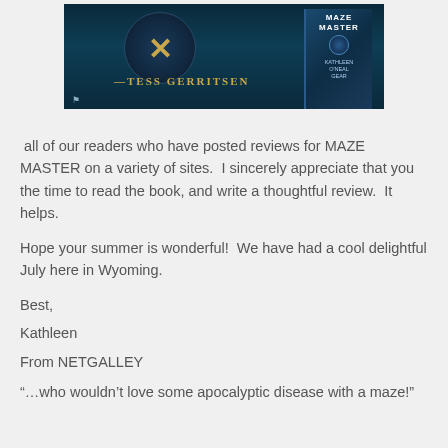[Figure (photo): Book cover advertisement image for 'Maze Master' by Kathleen O'Neal Gear with a blurb from Tess Gerritsen, showing a dark teal background with a DNA-like symbol and the book cover on the right side]
all of our readers who have posted reviews for MAZE MASTER on a variety of sites.  I sincerely appreciate that you the time to read the book, and write a thoughtful review.  It helps.
Hope your summer is wonderful!  We have had a cool delightful July here in Wyoming.
Best,
Kathleen
From NETGALLEY
“…who wouldn’t love some apocalyptic disease with a maze!”